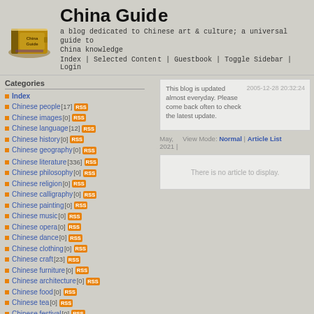[Figure (logo): China Guide book logo - golden book illustration]
China Guide
a blog dedicated to Chinese art & culture; a universal guide to China knowledge
Index | Selected Content | Guestbook | Toggle Sidebar | Login
Categories
Index
Chinese people [17] RSS
Chinese images [0] RSS
Chinese language [12] RSS
Chinese history [0] RSS
Chinese geography [0] RSS
Chinese literature [336] RSS
Chinese philosophy [0] RSS
Chinese religion [0] RSS
Chinese calligraphy [0] RSS
Chinese painting [0] RSS
Chinese music [0] RSS
Chinese opera [0] RSS
Chinese dance [0] RSS
Chinese clothing [0] RSS
Chinese craft [23] RSS
Chinese furniture [0] RSS
Chinese architecture [0] RSS
Chinese food [0] RSS
Chinese tea [0] RSS
Chinese festival [0] RSS
Chinese kungfu [0] RSS
This blog is updated almost everyday. Please come back often to check the latest update.
2005-12-28 20:32:24
May, 2021 | View Mode: Normal | Article List
There is no article to display.